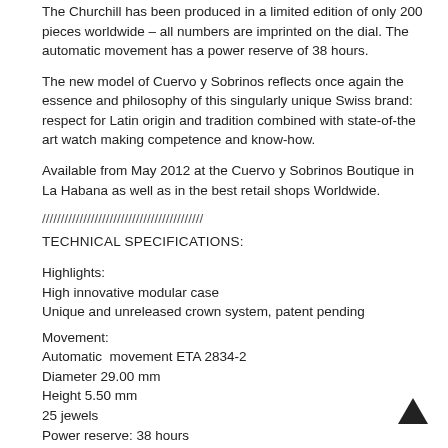The Churchill has been produced in a limited edition of only 200 pieces worldwide – all numbers are imprinted on the dial. The automatic movement has a power reserve of 38 hours.
The new model of Cuervo y Sobrinos reflects once again the essence and philosophy of this singularly unique Swiss brand: respect for Latin origin and tradition combined with state-of-the art watch making competence and know-how.
Available from May 2012 at the Cuervo y Sobrinos Boutique in La Habana as well as in the best retail shops Worldwide.
///////////////////////////////////////////
TECHNICAL SPECIFICATIONS:
Highlights:
High innovative modular case
Unique and unreleased crown system, patent pending
Movement:
Automatic  movement ETA 2834-2
Diameter 29.00 mm
Height 5.50 mm
25 jewels
Power reserve: 38 hours
Functions:
Hour, minute, second, date and logo of the brand...